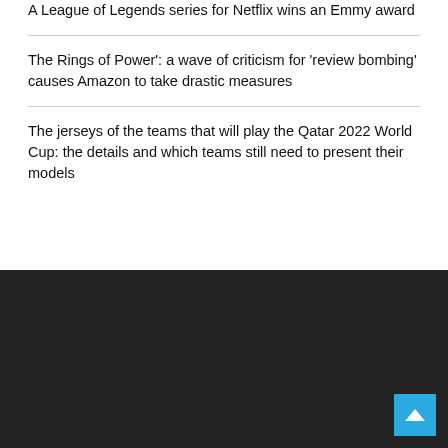A League of Legends series for Netflix wins an Emmy award
The Rings of Power': a wave of criticism for 'review bombing' causes Amazon to take drastic measures
The jerseys of the teams that will play the Qatar 2022 World Cup: the details and which teams still need to present their models
[Figure (other): Dark footer background with a light blue back-to-top arrow button in the bottom right corner]